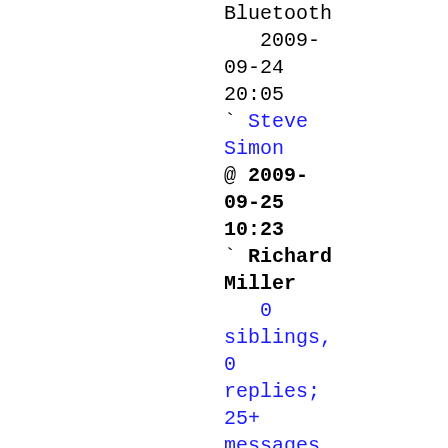Bluetooth
   2009-09-24 20:05
` Steve Simon @ 2009-09-25 10:23
` Richard Miller
   0 siblings, 0 replies; 25+ messages in thread
From: Richard Miller @ 2009-09-25 10:23 UTC
(permalink / raw)
  To: 9fans

> it would be